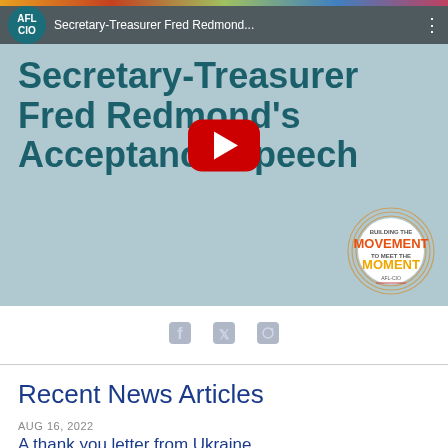[Figure (screenshot): YouTube video thumbnail for AFL-CIO Secretary-Treasurer Fred Redmond's Acceptance Speech, with play button overlay, Movement to Meet the Moment badge, and AFL-CIO logo in top bar]
Social share icons (Facebook, Twitter, Pinterest)
Recent News Articles
AUG 16, 2022
A thank you letter from Ukraine
This week, we received a moving thank you from trade unionists in Ukraine, where Steelworker donations are providing much-needed aide. More...